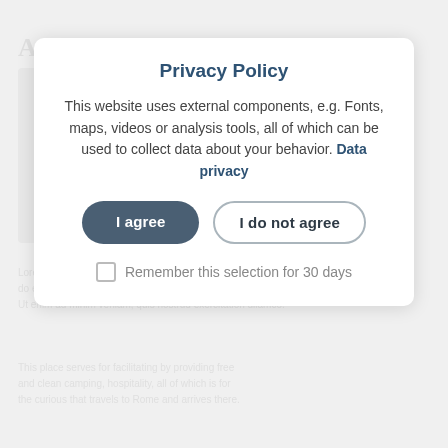Privacy Policy
This website uses external components, e.g. Fonts, maps, videos or analysis tools, all of which can be used to collect data about your behavior. Data privacy
I agree
I do not agree
Remember this selection for 30 days